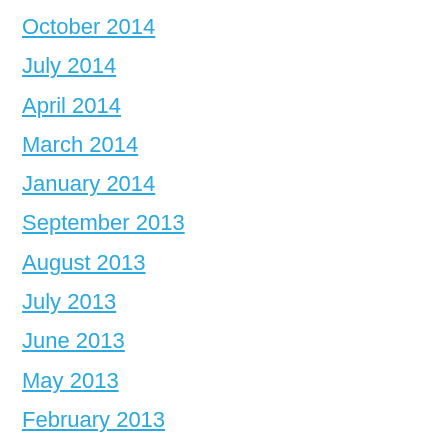October 2014
July 2014
April 2014
March 2014
January 2014
September 2013
August 2013
July 2013
June 2013
May 2013
February 2013
January 2013